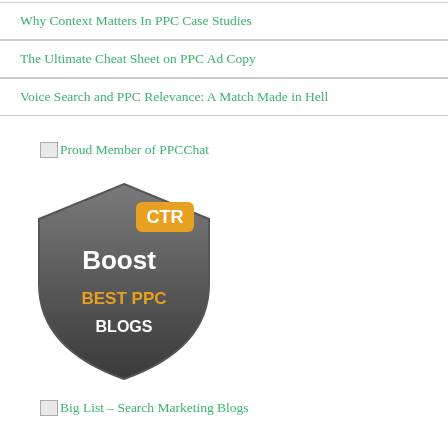Why Context Matters In PPC Case Studies
The Ultimate Cheat Sheet on PPC Ad Copy
Voice Search and PPC Relevance: A Match Made in Hell
[Figure (illustration): Broken image placeholder with text: Proud Member of PPCChat]
[Figure (logo): CTR Boost Best PPC Blogs shield badge in dark gray with orange and white text]
[Figure (illustration): Broken image placeholder with text: Big List - Search Marketing Blogs]